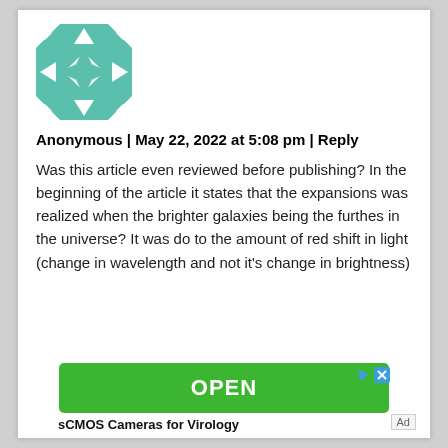[Figure (illustration): Teal/green geometric quilt pattern avatar image, square with star/triangle pattern]
Anonymous | May 22, 2022 at 5:08 pm | Reply
Was this article even reviewed before publishing? In the beginning of the article it states that the expansions was realized when the brighter galaxies being the furthes in the universe? It was do to the amount of red shift in light (change in wavelength and not it's change in brightness)
[Figure (other): Green OPEN button advertisement for sCMOS Cameras for Virology]
sCMOS Cameras for Virology
Ad